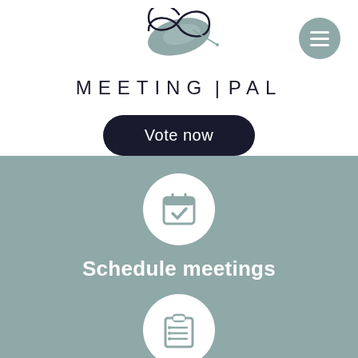[Figure (logo): MeetingPal logo: stylized infinity leaf symbol above MEETING|PAL text with a hamburger menu button]
Vote now
[Figure (illustration): Calendar with checkmark icon in white circle on teal-grey background]
Schedule meetings
[Figure (illustration): Clipboard with list icon in white circle on teal-grey background]
Set agenda